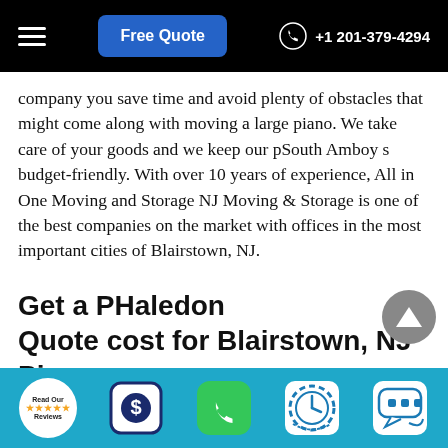Free Quote  +1 201-379-4294
company you save time and avoid plenty of obstacles that might come along with moving a large piano. We take care of your goods and we keep our pSouth Amboys budget-friendly. With over 10 years of experience, All in One Moving and Storage NJ Moving & Storage is one of the best companies on the market with offices in the most important cities of Blairstown, NJ.
Get a PHaledon Quote cost for Blairstown, NJ Piano Movers
Read Our Reviews | $ | Phone | Clock | Chat